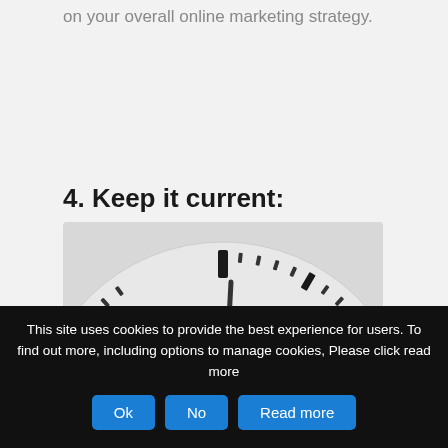on your overall online marketing strategy.
4. Keep it current:
[Figure (illustration): A close-up of an analog clock face showing tick marks and hour indicators, photographed from above. The clock face is white/light gray with black tick marks and bold hour markers visible across the upper half.]
This site uses cookies to provide the best experience for users. To find out more, including options to manage cookies, Please click read more